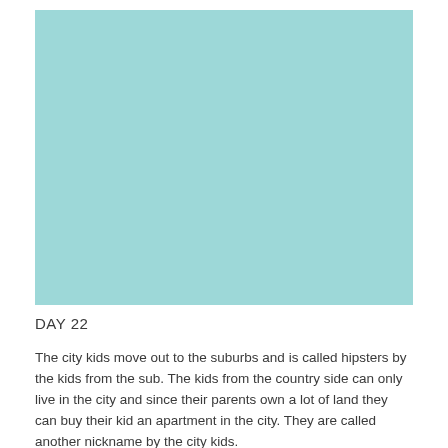[Figure (illustration): A solid light teal/aqua colored rectangle placeholder image]
DAY 22
The city kids move out to the suburbs and is called hipsters by the kids from the sub. The kids from the country side can only live in the city and since their parents own a lot of land they can buy their kid an apartment in the city. They are called another nickname by the city kids.